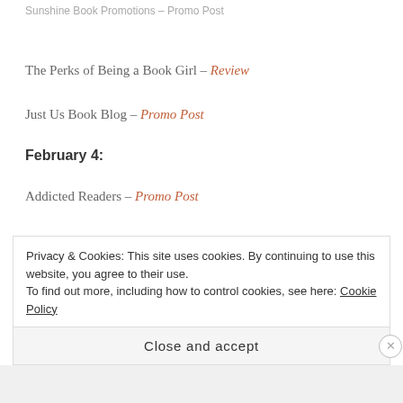Sunshine Book Promotions – Promo Post
The Perks of Being a Book Girl – Review
Just Us Book Blog – Promo Post
February 4:
Addicted Readers – Promo Post
Privacy & Cookies: This site uses cookies. By continuing to use this website, you agree to their use.
To find out more, including how to control cookies, see here: Cookie Policy
Close and accept